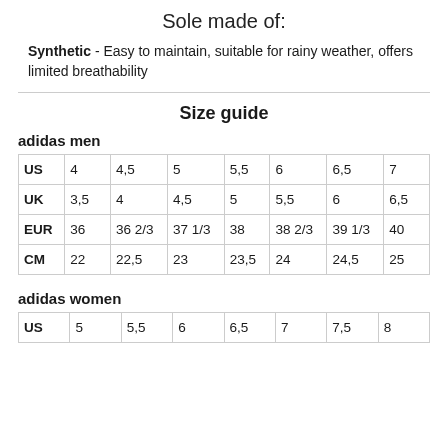Sole made of:
Synthetic - Easy to maintain, suitable for rainy weather, offers limited breathability
Size guide
adidas men
|  | 4 | 4,5 | 5 | 5,5 | 6 | 6,5 | 7 |
| --- | --- | --- | --- | --- | --- | --- | --- |
| US | 4 | 4,5 | 5 | 5,5 | 6 | 6,5 | 7 |
| UK | 3,5 | 4 | 4,5 | 5 | 5,5 | 6 | 6,5 |
| EUR | 36 | 36 2/3 | 37 1/3 | 38 | 38 2/3 | 39 1/3 | 40 |
| CM | 22 | 22,5 | 23 | 23,5 | 24 | 24,5 | 25 |
adidas women
|  | 5 | 5,5 | 6 | 6,5 | 7 | 7,5 | 8 |
| --- | --- | --- | --- | --- | --- | --- | --- |
| US | 5 | 5,5 | 6 | 6,5 | 7 | 7,5 | 8 |